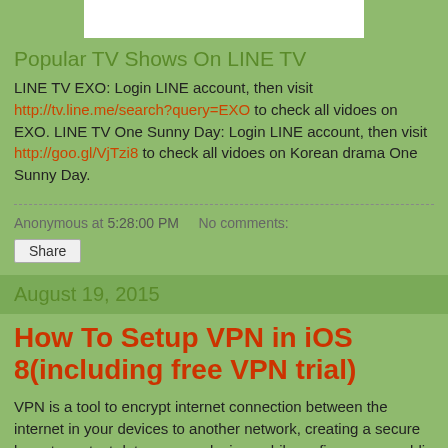[Figure (other): White rectangle image placeholder at top of page]
Popular TV Shows On LINE TV
LINE TV EXO: Login LINE account, then visit http://tv.line.me/search?query=EXO to check all vidoes on EXO. LINE TV One Sunny Day: Login LINE account, then visit http://goo.gl/VjTzi8 to check all vidoes on Korean drama One Sunny Day.
Anonymous at 5:28:00 PM   No comments:
Share
August 19, 2015
How To Setup VPN in iOS 8(including free VPN trial)
VPN is a tool to encrypt internet connection between the internet in your devices to another network, creating a secure layer to protect data on your devices while surfing over a public or